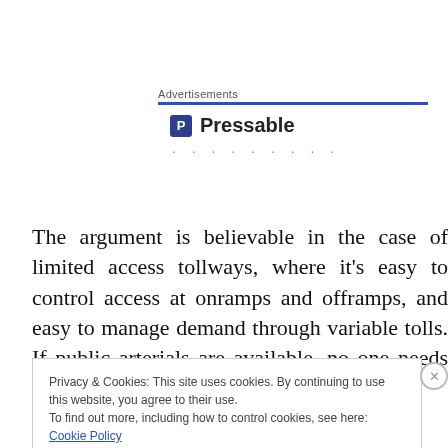Advertisements
[Figure (logo): Pressable logo with blue 'P' icon and bold text 'Pressable' followed by dots]
The argument is believable in the case of limited access tollways, where it's easy to control access at onramps and offramps, and easy to manage demand through variable tolls. If public arterials are available, no one needs to use
Privacy & Cookies: This site uses cookies. By continuing to use this website, you agree to their use.
To find out more, including how to control cookies, see here: Cookie Policy